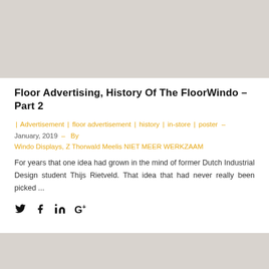[Figure (photo): Top image placeholder, light gray/beige background]
Floor Advertising, History Of The FloorWindo – Part 2
| Advertisement | floor advertisement | history | in-store | poster – January, 2019 – By Windo Displays, Z Thorwald Meelis NIET MEER WERKZAAM
For years that one idea had grown in the mind of former Dutch Industrial Design student Thijs Rietveld. That idea that had never really been picked ...
[Figure (other): Social media share icons: Twitter, Facebook, LinkedIn, Google+]
[Figure (photo): Bottom image placeholder, light gray/beige background]